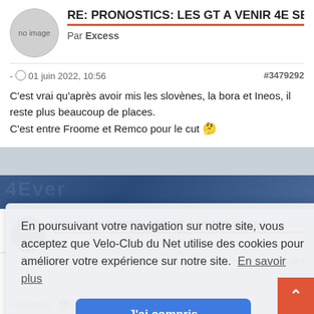RE: PRONOSTICS: LES GT A VENIR 4E SES
Par Excess
- 01 juin 2022, 10:56   #3479292
C'est vrai qu'après avoir mis les slovènes, la bora et Ineos, il reste plus beaucoup de places.
C'est entre Froome et Remco pour le cut 🤔
RE: PRONOSTICS: LES GT A VENIR 4E SES
#79304
En poursuivant votre navigation sur notre site, vous acceptez que Velo-Club du Net utilise des cookies pour améliorer votre expérience sur notre site.  En savoir plus
J'ai compris
slovènes. 🤠🤙